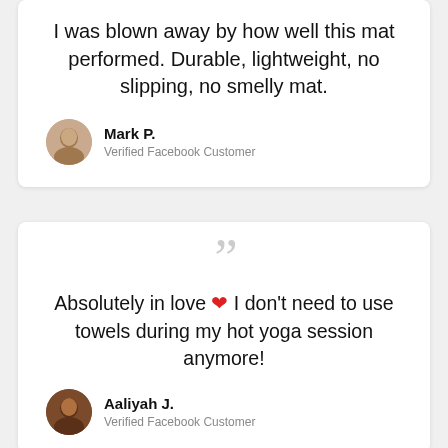I was blown away by how well this mat performed. Durable, lightweight, no slipping, no smelly mat.
Mark P. — Verified Facebook Customer
” Absolutely in love ❤ I don't need to use towels during my hot yoga session anymore!
Aaliyah J. — Verified Facebook Customer